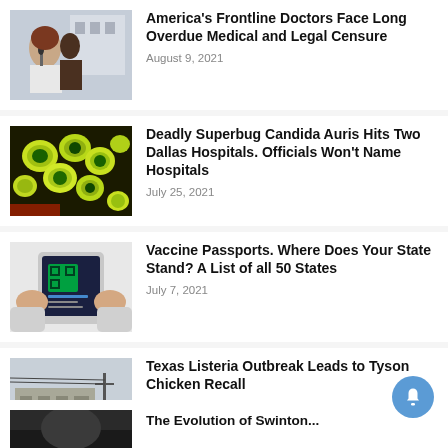[Figure (photo): Woman in white coat speaking at press conference with microphones]
America's Frontline Doctors Face Long Overdue Medical and Legal Censure
August 9, 2021
[Figure (photo): Microscope image of green-yellow Candida Auris cells]
Deadly Superbug Candida Auris Hits Two Dallas Hospitals. Officials Won't Name Hospitals
July 25, 2021
[Figure (photo): Hands holding phone displaying vaccine passport app]
Vaccine Passports. Where Does Your State Stand? A List of all 50 States
July 7, 2021
[Figure (photo): Tyson chicken facility exterior with sign]
Texas Listeria Outbreak Leads to Tyson Chicken Recall
July 6, 2021
[Figure (photo): Partially visible image at bottom of page]
The Evolution of Swinton...